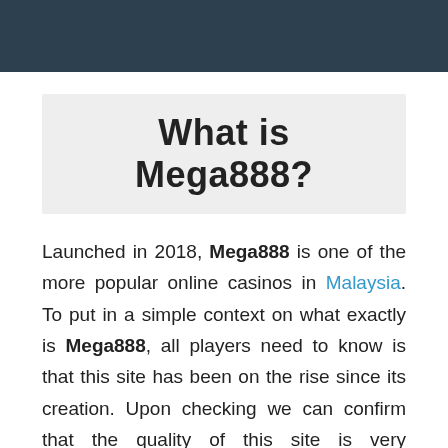What is Mega888?
Launched in 2018, Mega888 is one of the more popular online casinos in Malaysia. To put in a simple context on what exactly is Mega888, all players need to know is that this site has been on the rise since its creation. Upon checking we can confirm that the quality of this site is very consistent.
[Figure (photo): Broken image placeholder labeled 'blackjack game']